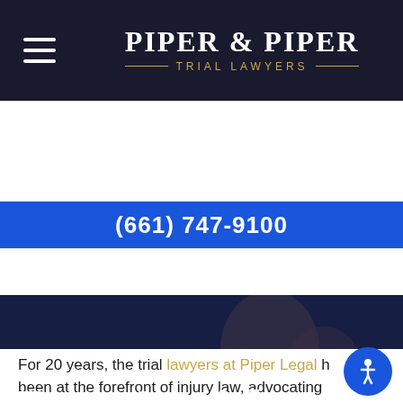[Figure (logo): Piper & Piper Trial Lawyers logo with hamburger menu on dark background header bar]
(661) 747-9100
[Figure (photo): Hero section with dark overlay photo of people, showing 'Bus Accidents' title and 'Lorem Ipsum Dolor Sit Amet' subtitle]
Bus Accidents
Lorem Ipsum Dolor Sit Amet
For 20 years, the trial lawyers at Piper Legal h... been at the forefront of injury law, advocating...